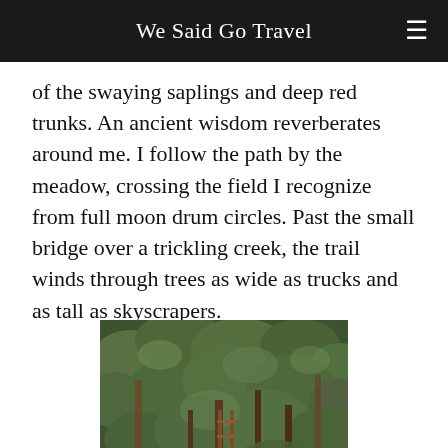We Said Go Travel
of the swaying saplings and deep red trunks. An ancient wisdom reverberates around me. I follow the path by the meadow, crossing the field I recognize from full moon drum circles. Past the small bridge over a trickling creek, the trail winds through trees as wide as trucks and as tall as skyscrapers.
[Figure (photo): Dense green forest with tall trees; a wooden ladder or structure visible among the foliage.]